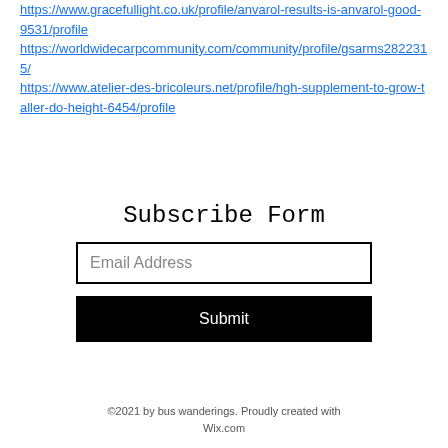https://www.gracefullight.co.uk/profile/anvarol-results-is-anvarol-good-9531/profile
https://worldwidecarpcommunity.com/community/profile/gsarms2822315/
https://www.atelier-des-bricoleurs.net/profile/hgh-supplement-to-grow-taller-do-height-6454/profile
Subscribe Form
[Figure (other): Email Address input field (text box with border)]
[Figure (other): Submit button (black background, white text)]
©2021 by bus wanderings. Proudly created with Wix.com